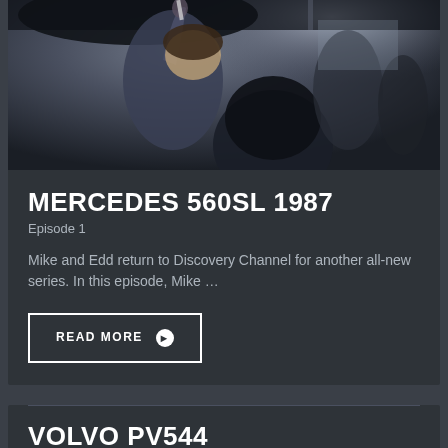[Figure (photo): Two mechanics working underneath a raised vehicle in a garage workshop. One person reaches up with a tool, another person's head is visible in the foreground.]
MERCEDES 560SL 1987
Episode 1
Mike and Edd return to Discovery Channel for another all-new series. In this episode, Mike …
READ MORE ❯
VOLVO PV544